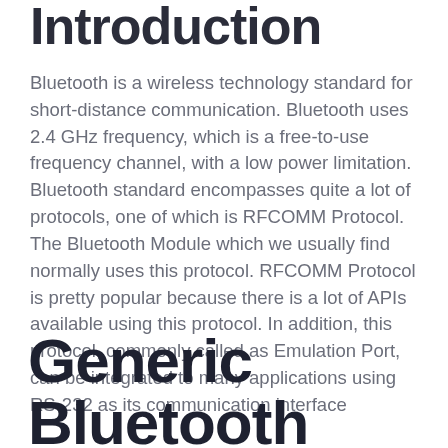Introduction
Bluetooth is a wireless technology standard for short-distance communication. Bluetooth uses 2.4 GHz frequency, which is a free-to-use frequency channel, with a low power limitation. Bluetooth standard encompasses quite a lot of protocols, one of which is RFCOMM Protocol. The Bluetooth Module which we usually find normally uses this protocol. RFCOMM Protocol is pretty popular because there is a lot of APIs available using this protocol. In addition, this protocol, commonly called as Emulation Port, can be integrated to many applications using RS-232 as its communication interface
Generic Bluetooth